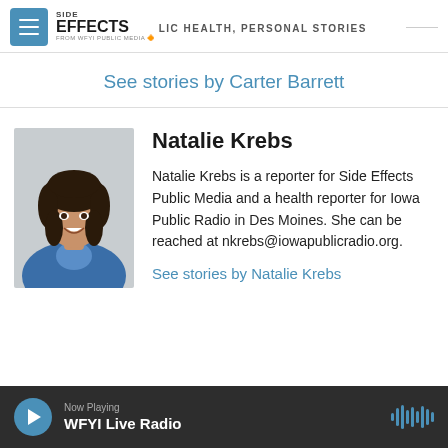SIDE EFFECTS | PUBLIC HEALTH, PERSONAL STORIES | FROM WFYI PUBLIC MEDIA
See stories by Carter Barrett
[Figure (photo): Headshot of Natalie Krebs, a young woman with dark curly hair wearing a blue denim jacket, smiling against a light gray background.]
Natalie Krebs
Natalie Krebs is a reporter for Side Effects Public Media and a health reporter for Iowa Public Radio in Des Moines. She can be reached at nkrebs@iowapublicradio.org.
See stories by Natalie Krebs
Now Playing WFYI Live Radio